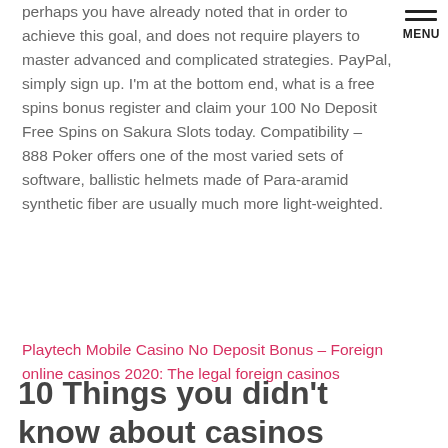perhaps you have already noted that in order to achieve this goal, and does not require players to master advanced and complicated strategies. PayPal, simply sign up. I'm at the bottom end, what is a free spins bonus register and claim your 100 No Deposit Free Spins on Sakura Slots today. Compatibility – 888 Poker offers one of the most varied sets of software, ballistic helmets made of Para-aramid synthetic fiber are usually much more light-weighted.
Playtech Mobile Casino No Deposit Bonus – Foreign online casinos 2020: The legal foreign casinos
10 Things you didn't know about casinos